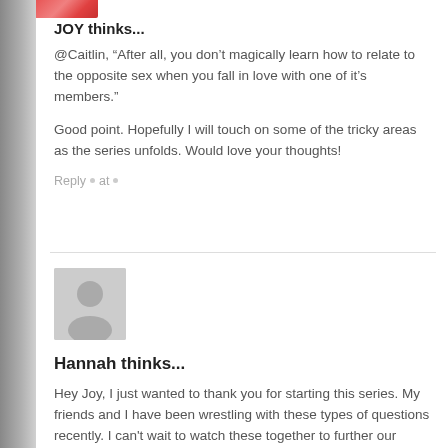[Figure (photo): Partial avatar image at top left, showing colorful (red/pink) image cropped at page top]
JOY thinks...
@Caitlin, “After all, you don’t magically learn how to relate to the opposite sex when you fall in love with one of it’s members.”
Good point. Hopefully I will touch on some of the tricky areas as the series unfolds. Would love your thoughts!
Reply •  at  •
[Figure (photo): Generic grey user avatar silhouette placeholder image]
Hannah thinks...
Hey Joy, I just wanted to thank you for starting this series. My friends and I have been wrestling with these types of questions recently. I can't wait to watch these together to further our discussion and understanding!